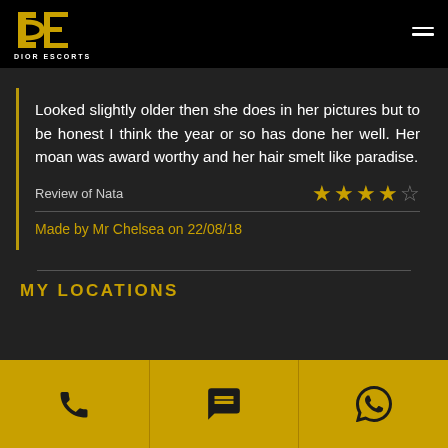[Figure (logo): Dior Escorts logo with golden 'D' and 'E' letters and brand name text below]
Looked slightly older then she does in her pictures but to be honest I think the year or so has done her well. Her moan was award worthy and her hair smelt like paradise.
Review of Nata ★★★★☆
Made by Mr Chelsea on 22/08/18
MY LOCATIONS